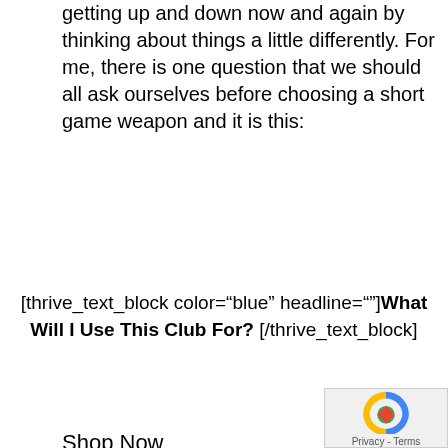getting up and down now and again by thinking about things a little differently. For me, there is one question that we should all ask ourselves before choosing a short game weapon and it is this:
[thrive_text_block color="blue" headline=""]What Will I Use This Club For? [/thrive_text_block]
Shop Now
[Figure (photo): Pinemeadow Golf Pinemeadow Wedge (Right-Handed, 68-D... - golf club product image]
Pinemeadow Golf Pinemeadow Wedge (Right-Handed, 68-D...
[Figure (photo): Cleveland CBX2 BKS 60 S - golf club product image]
Cleveland CBX2 BKS 60 S